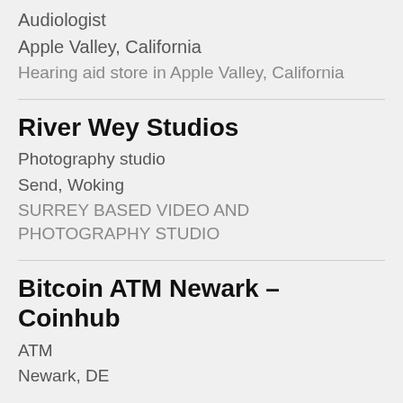Audiologist
Apple Valley, California
Hearing aid store in Apple Valley, California
River Wey Studios
Photography studio
Send, Woking
SURREY BASED VIDEO AND PHOTOGRAPHY STUDIO
Bitcoin ATM Newark – Coinhub
ATM
Newark, DE